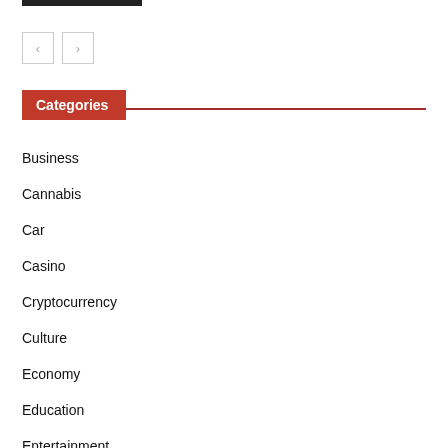[Figure (other): Navigation previous/next arrow buttons]
Categories
Business
Cannabis
Car
Casino
Cryptocurrency
Culture
Economy
Education
Entertainment
Environment
Fashion